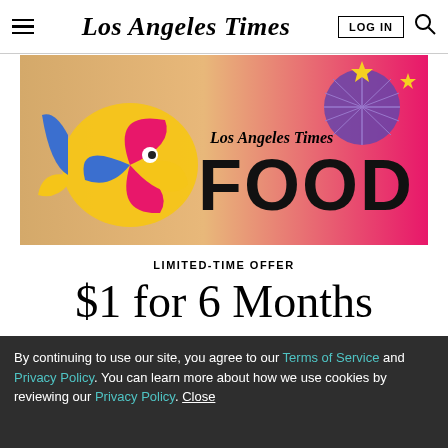Los Angeles Times — LOG IN | Search
[Figure (illustration): Los Angeles Times Food newsletter promotional banner with colorful illustrated fish and disco ball on gradient background from tan to pink]
LIMITED-TIME OFFER
$1 for 6 Months
SUBSCRIBE NOW
By continuing to use our site, you agree to our Terms of Service and Privacy Policy. You can learn more about how we use cookies by reviewing our Privacy Policy. Close